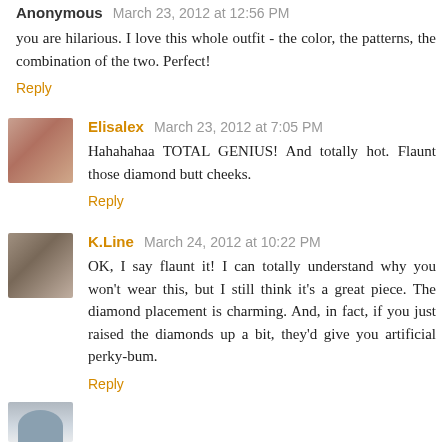Anonymous March 23, 2012 at 12:56 PM
you are hilarious. I love this whole outfit - the color, the patterns, the combination of the two. Perfect!
Reply
Elisalex March 23, 2012 at 7:05 PM
Hahahahaa TOTAL GENIUS! And totally hot. Flaunt those diamond butt cheeks.
Reply
K.Line March 24, 2012 at 10:22 PM
OK, I say flaunt it! I can totally understand why you won't wear this, but I still think it's a great piece. The diamond placement is charming. And, in fact, if you just raised the diamonds up a bit, they'd give you artificial perky-bum.
Reply